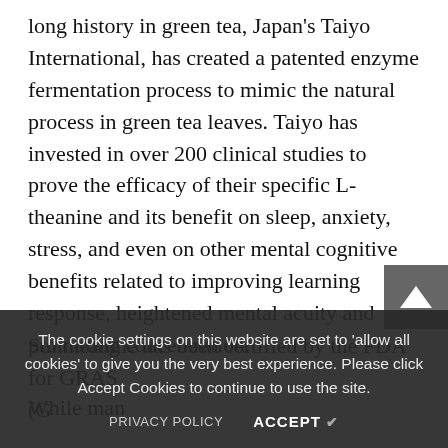long history in green tea, Japan's Taiyo International, has created a patented enzyme fermentation process to mimic the natural process in green tea leaves. Taiyo has invested in over 200 clinical studies to prove the efficacy of their specific L-theanine and its benefit on sleep, anxiety, stress, and even on other mental cognitive benefits related to improving learning response, heightened mental acuity and promoting concentration.
Suntheanine has been certified by the FDA for GRAS (G...
While man... exist for L-
The cookie settings on this website are set to 'allow all cookies' to give you the very best experience. Please click Accept Cookies to continue to use the site.